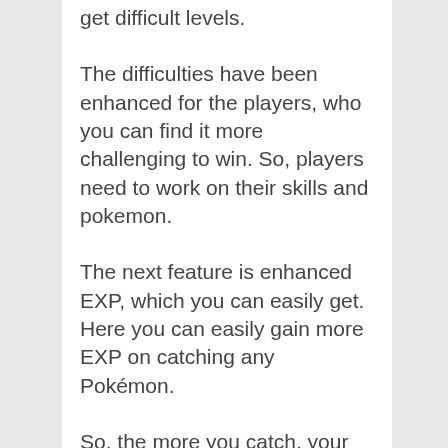get difficult levels.
The difficulties have been enhanced for the players, who you can find it more challenging to win. So, players need to work on their skills and pokemon.
The next feature is enhanced EXP, which you can easily get. Here you can easily gain more EXP on catching any Pokémon.
So, the more you catch, your EXP will be high, which you can easily use in the battle and have fun. You can catch and increase your expertise levels.